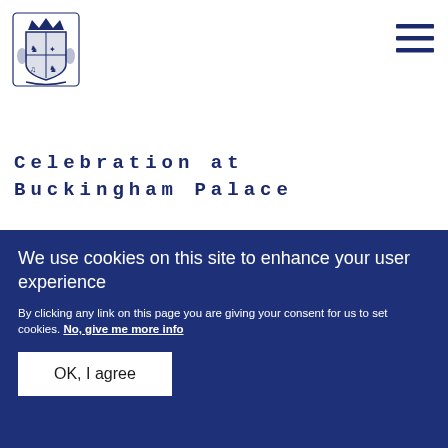[Figure (logo): Royal coat of arms logo in navy blue]
[Figure (other): Hamburger menu icon (three horizontal lines) in navy blue]
Celebration at Buckingham Palace
”
“
You have inspired
We use cookies on this site to enhance your user experience
By clicking any link on this page you are giving your consent for us to set cookies. No, give me more info
OK, I agree